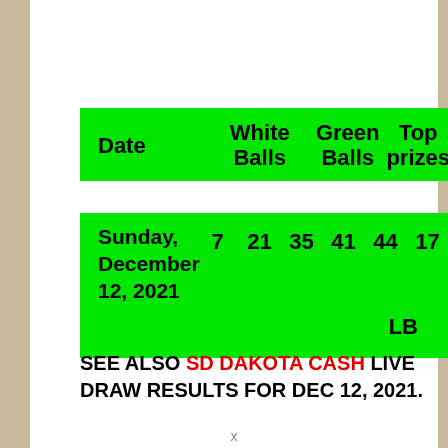| Date | White Balls | Green Balls | Top prizes |
| --- | --- | --- | --- |
| Sunday, December 12, 2021 | 7  21  35  41  44 | 17  S | LB |
SEE ALSO SD DAKOTA CASH LIVE DRAW RESULTS FOR DEC 12, 2021.